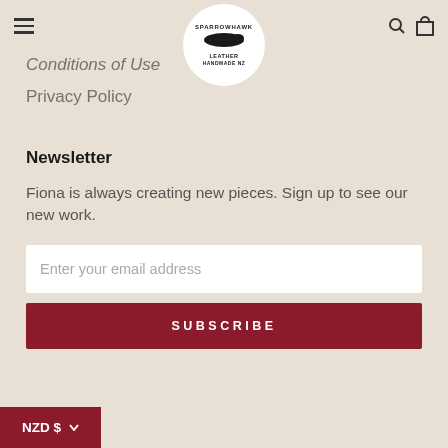Sparrowhawk Leather Handmade NZ
Conditions of Use
Privacy Policy
Newsletter
Fiona is always creating new pieces. Sign up to see our new work.
Enter your email address
SUBSCRIBE
NZD $